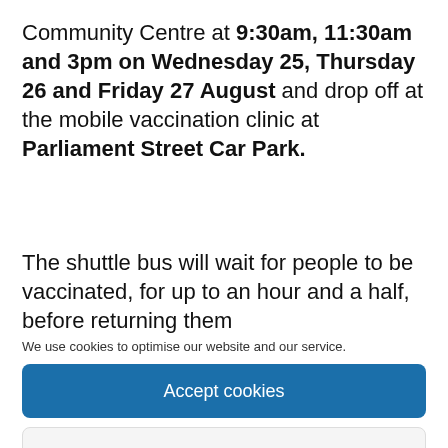Community Centre at 9:30am, 11:30am and 3pm on Wednesday 25, Thursday 26 and Friday 27 August and drop off at the mobile vaccination clinic at Parliament Street Car Park.
The shuttle bus will wait for people to be vaccinated, for up to an hour and a half, before returning them
We use cookies to optimise our website and our service.
Accept cookies
Functional only
View preferences
Cookie Policy